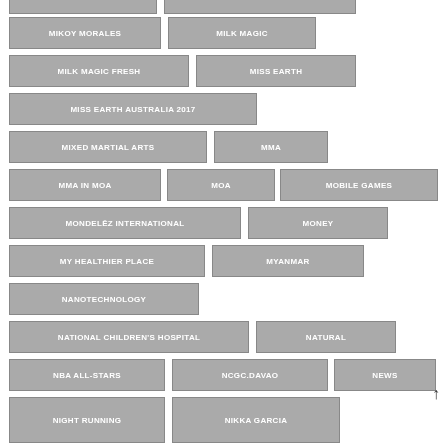MIKOY MORALES
MILK MAGIC
MILK MAGIC FRESH
MISS EARTH
MISS EARTH AUSTRALIA 2017
MIXED MARTIAL ARTS
MMA
MMA IN MOA
MOA
MOBILE GAMES
MONDELĒZ INTERNATIONAL
MONEY
MY HEALTHIER PLACE
MYANMAR
NANOTECHNOLOGY
NATIONAL CHILDREN'S HOSPITAL
NATURAL
NBA ALL-STARS
NCGC.DAVAO
NEWS
NIGHT RUNNING
NIKKA GARCIA